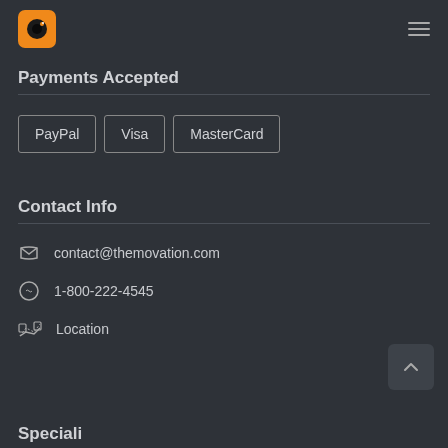Payments Accepted
PayPal  Visa  MasterCard
Contact Info
contact@themovation.com
1-800-222-4545
Location
Speciali...